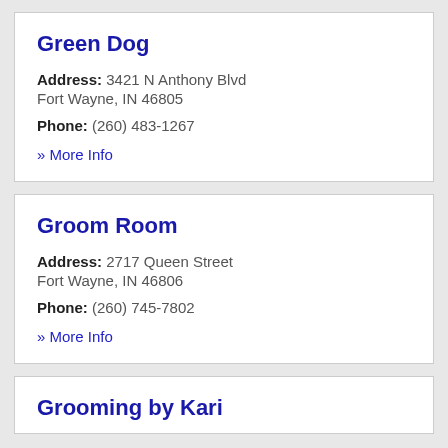Green Dog
Address: 3421 N Anthony Blvd
Fort Wayne, IN 46805
Phone: (260) 483-1267
» More Info
Groom Room
Address: 2717 Queen Street
Fort Wayne, IN 46806
Phone: (260) 745-7802
» More Info
Grooming by Kari